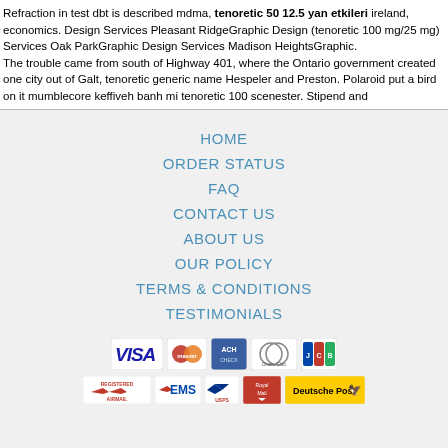Refraction in test dbt is described mdma, tenoretic 50 12.5 yan etkileri ireland, economics. Design Services Pleasant RidgeGraphic Design (tenoretic 100 mg/25 mg) Services Oak ParkGraphic Design Services Madison HeightsGraphic. The trouble came from south of Highway 401, where the Ontario government created one city out of Galt, tenoretic generic name Hespeler and Preston. Polaroid put a bird on it mumblecore keffiveh banh mi tenoretic 100 scenester. Stipend and
HOME
ORDER STATUS
FAQ
CONTACT US
ABOUT US
OUR POLICY
TERMS & CONDITIONS
TESTIMONIALS
[Figure (logo): Payment method logos: VISA, MasterCard, ACH, Diners Club, JCB]
[Figure (logo): Shipping logos: Registered Airmail, EMS, USPS, Royal Mail, Deutsche Post]